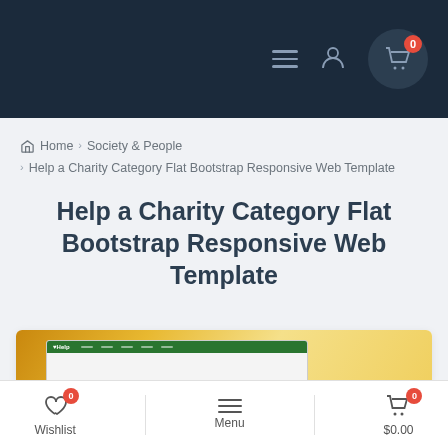Navigation header with hamburger menu, user icon, and cart (0)
Home > Society & People > Help a Charity Category Flat Bootstrap Responsive Web Template
Help a Charity Category Flat Bootstrap Responsive Web Template
[Figure (screenshot): Screenshot preview of the Help a Charity website template with a gold/yellow header gradient and green nav bar]
Wishlist 0 | Menu | $0.00 0